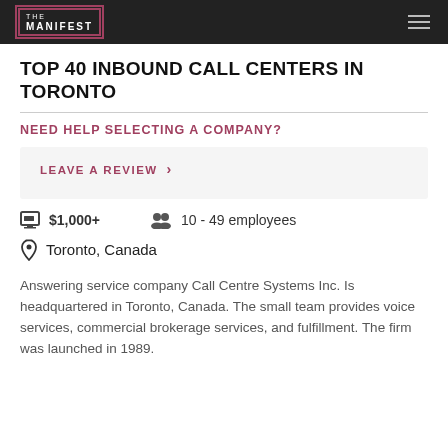THE MANIFEST
TOP 40 INBOUND CALL CENTERS IN TORONTO
NEED HELP SELECTING A COMPANY?
LEAVE A REVIEW >
$1,000+  10 - 49 employees
Toronto, Canada
Answering service company Call Centre Systems Inc. Is headquartered in Toronto, Canada. The small team provides voice services, commercial brokerage services, and fulfillment. The firm was launched in 1989.